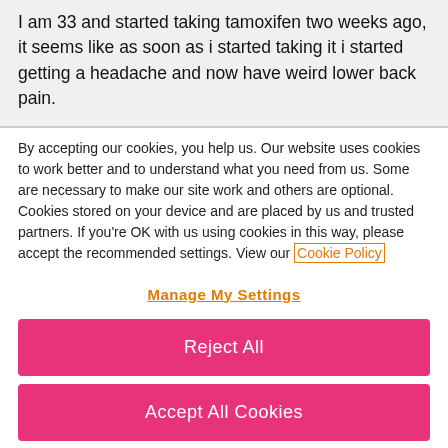I am 33 and started taking tamoxifen two weeks ago, it seems like as soon as i started taking it i started getting a headache and now have weird lower back pain.
By accepting our cookies, you help us. Our website uses cookies to work better and to understand what you need from us. Some are necessary to make our site work and others are optional. Cookies stored on your device and are placed by us and trusted partners. If you're OK with us using cookies in this way, please accept the recommended settings. View our Cookie Policy
Manage My Settings
Reject All
Accept All Cookies